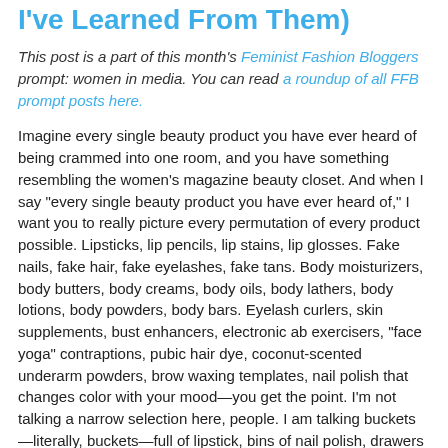I've Learned From Them)
This post is a part of this month's Feminist Fashion Bloggers prompt: women in media. You can read a roundup of all FFB prompt posts here.
Imagine every single beauty product you have ever heard of being crammed into one room, and you have something resembling the women's magazine beauty closet. And when I say "every single beauty product you have ever heard of," I want you to really picture every permutation of every product possible. Lipsticks, lip pencils, lip stains, lip glosses. Fake nails, fake hair, fake eyelashes, fake tans. Body moisturizers, body butters, body creams, body oils, body lathers, body lotions, body powders, body bars. Eyelash curlers, skin supplements, bust enhancers, electronic ab exercisers, "face yoga" contraptions, pubic hair dye, coconut-scented underarm powders, brow waxing templates, nail polish that changes color with your mood—you get the point. I'm not talking a narrow selection here, people. I am talking buckets—literally, buckets—full of lipstick, bins of nail polish, drawers full of powder compacts.